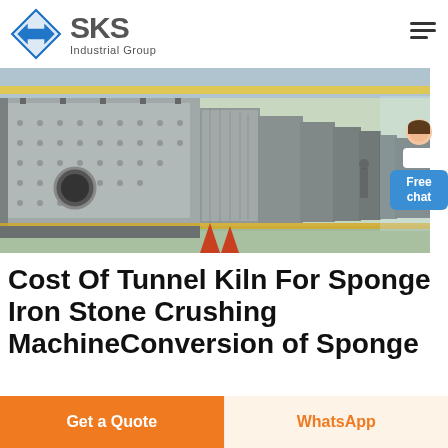[Figure (logo): SKS Industrial Group logo with blue diamond arrow icon and grey text]
[Figure (photo): Industrial factory floor showing large metal vibrating screen/sieve machines lined up in a row inside a warehouse with overhead crane]
Cost Of Tunnel Kiln For Sponge Iron Stone Crushing MachineConversion of Sponge
Get a Quote
WhatsApp